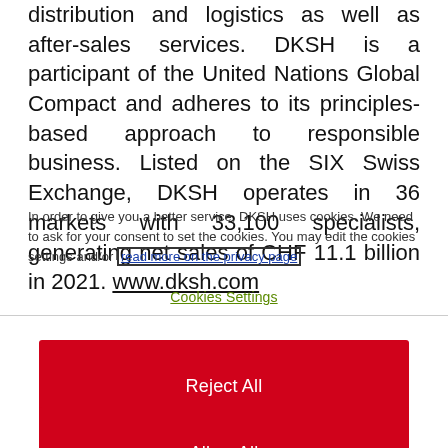distribution and logistics as well as after-sales services. DKSH is a participant of the United Nations Global Compact and adheres to its principles-based approach to responsible business. Listed on the SIX Swiss Exchange, DKSH operates in 36 markets with 33,100 specialists, generating net sales of CHF 11.1 billion in 2021. www.dksh.com
In order to give you a better service, DKSH uses cookies. We need to ask for your consent to set the cookies. You may edit the cookies settings and/or read more on the privacy page
Cookies Settings
Reject All
Allow All